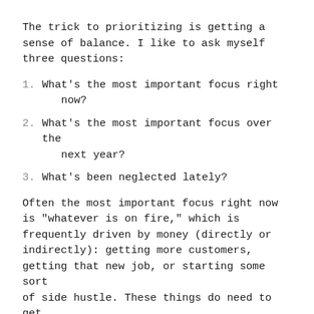The trick to prioritizing is getting a sense of balance. I like to ask myself three questions:
What's the most important focus right now?
What's the most important focus over the next year?
What's been neglected lately?
Often the most important focus right now is "whatever is on fire," which is frequently driven by money (directly or indirectly): getting more customers, getting that new job, or starting some sort of side hustle. These things do need to get done, but the other two questions help